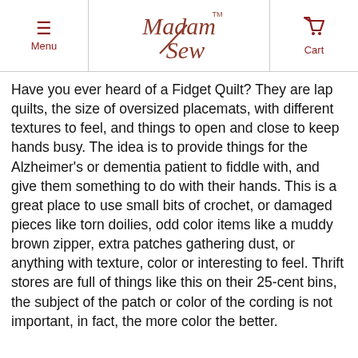Menu | Madam Sew | Cart
Have you ever heard of a Fidget Quilt? They are lap quilts, the size of oversized placemats, with different textures to feel, and things to open and close to keep hands busy. The idea is to provide things for the Alzheimer's or dementia patient to fiddle with, and give them something to do with their hands. This is a great place to use small bits of crochet, or damaged pieces like torn doilies, odd color items like a muddy brown zipper, extra patches gathering dust, or anything with texture, color or interesting to feel. Thrift stores are full of things like this on their 25-cent bins, the subject of the patch or color of the cording is not important, in fact, the more color the better.